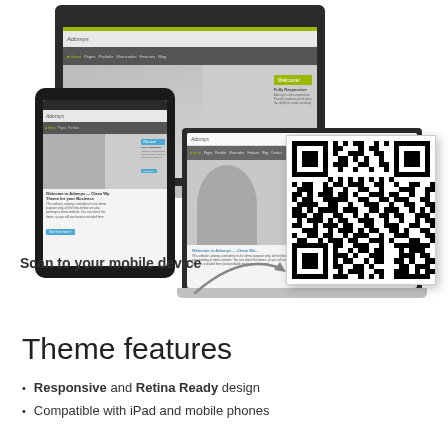[Figure (screenshot): Multiple device mockups (desktop monitor, tablet, laptop) showing a website called Adomys with responsive design, alongside a QR code and an arrow pointing to it with text 'Scan to your mobile device']
Theme features
Responsive and Retina Ready design
Compatible with iPad and mobile phones